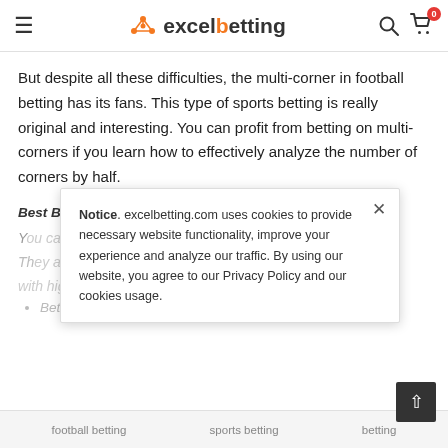excelbetting
But despite all these difficulties, the multi-corner in football betting has its fans. This type of sports betting is really original and interesting. You can profit from betting on multi-corners if you learn how to effectively analyze the number of corners by half.
Best Betting Software  - Best Analysis results - Best winnings
You can check out some of our best betting software.
They analyze statistics for each match with high-precision results.
Betting Software
Notice. excelbetting.com uses cookies to provide necessary website functionality, improve your experience and analyze our traffic. By using our website, you agree to our Privacy Policy and our cookies usage.
football betting   sports betting   betting